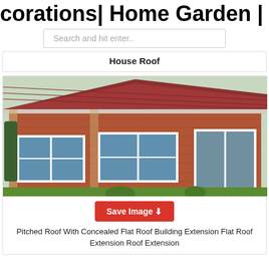corations| Home Garden | Home Far
Search and hit enter..
House Roof
[Figure (photo): Brick house extension with pitched tiled roof and large white-framed windows, viewed from the garden]
Save Image
Pitched Roof With Concealed Flat Roof Building Extension Flat Roof Extension Roof Extension